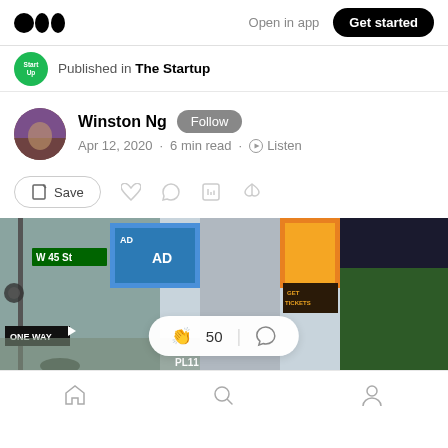Medium logo | Open in app | Get started
Published in The Startup
Winston Ng  Follow
Apr 12, 2020 · 6 min read · Listen
Save (social action bar)
[Figure (photo): Times Square street scene showing W 45 St sign, digital billboards, One Way sign, and city buildings]
Home | Search | Profile navigation icons